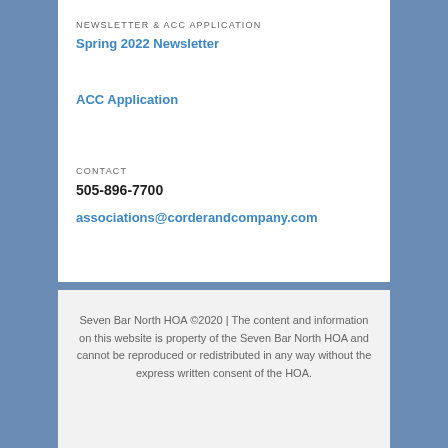NEWSLETTER & ACC APPLICATION
Spring 2022 Newsletter
ACC Application
CONTACT
505-896-7700
associations@corderandcompany.com
Seven Bar North HOA ©2020 | The content and information on this website is property of the Seven Bar North HOA and cannot be reproduced or redistributed in any way without the express written consent of the HOA.